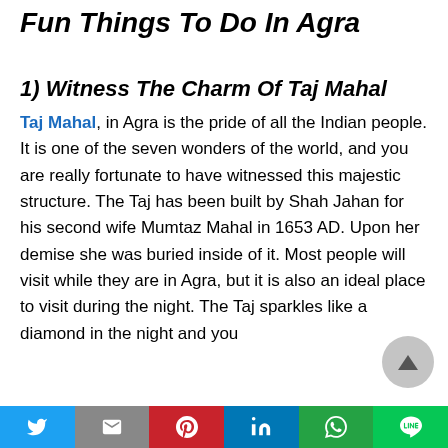Fun Things To Do In Agra
1) Witness The Charm Of Taj Mahal
Taj Mahal, in Agra is the pride of all the Indian people. It is one of the seven wonders of the world, and you are really fortunate to have witnessed this majestic structure. The Taj has been built by Shah Jahan for his second wife Mumtaz Mahal in 1653 AD. Upon her demise she was buried inside of it. Most people will visit while they are in Agra, but it is also an ideal place to visit during the night. The Taj sparkles like a diamond in the night and you